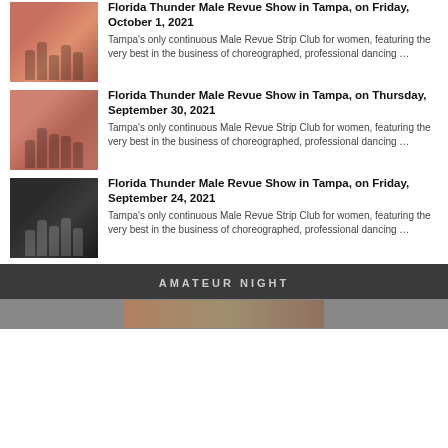Florida Thunder Male Revue Show in Tampa, on Friday, October 1, 2021 — Tampa's only continuous Male Revue Strip Club for women, featuring the very best in the business of choreographed, professional dancing …
Florida Thunder Male Revue Show in Tampa, on Thursday, September 30, 2021 — Tampa's only continuous Male Revue Strip Club for women, featuring the very best in the business of choreographed, professional dancing …
Florida Thunder Male Revue Show in Tampa, on Friday, September 24, 2021 — Tampa's only continuous Male Revue Strip Club for women, featuring the very best in the business of choreographed, professional dancing …
AMATEUR NIGHT
[Figure (photo): Bottom strip photo placeholder]